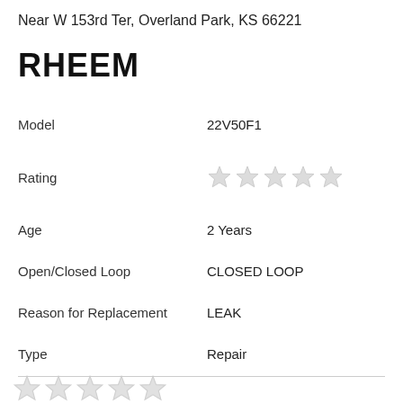Near W 153rd Ter, Overland Park, KS 66221
RHEEM
| Model | 22V50F1 |
| Rating | ☆☆☆☆☆ |
| Age | 2 Years |
| Open/Closed Loop | CLOSED LOOP |
| Reason for Replacement | LEAK |
| Type | Repair |